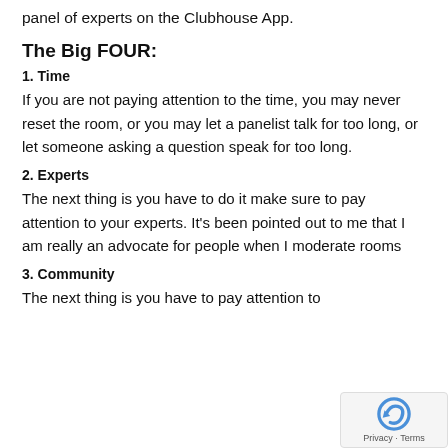panel of experts on the Clubhouse App.
The Big FOUR:
1. Time
If you are not paying attention to the time, you may never reset the room, or you may let a panelist talk for too long, or let someone asking a question speak for too long.
2. Experts
The next thing is you have to do it make sure to pay attention to your experts. It’s been pointed out to me that I am really an advocate for people when I moderate rooms
3. Community
The next thing is you have to pay attention to